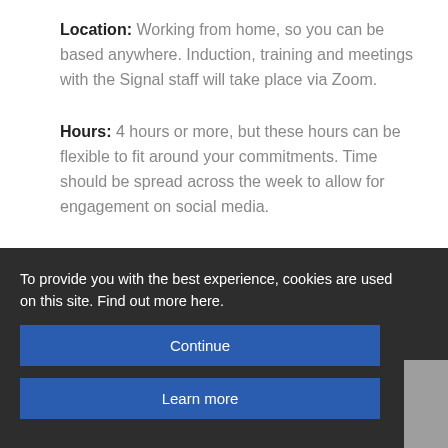Location: Working from home, so you can be based anywhere. Induction, training and meetings with the Signal staff will take place via Zoom.
Hours: 4 hours or more, but these hours can be flexible to fit around your commitments. Time should be spread across the week to allow for engagement on social media.
To provide you with the best experience, cookies are used on this site. Find out more here.
Continue
Learn more
Telford A